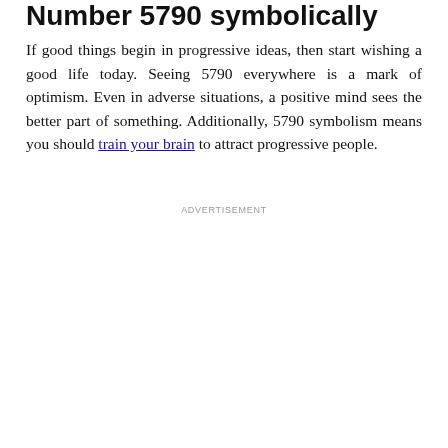Number 5790 symbolically
If good things begin in progressive ideas, then start wishing a good life today. Seeing 5790 everywhere is a mark of optimism. Even in adverse situations, a positive mind sees the better part of something. Additionally, 5790 symbolism means you should train your brain to attract progressive people.
ADVERTISEMENT